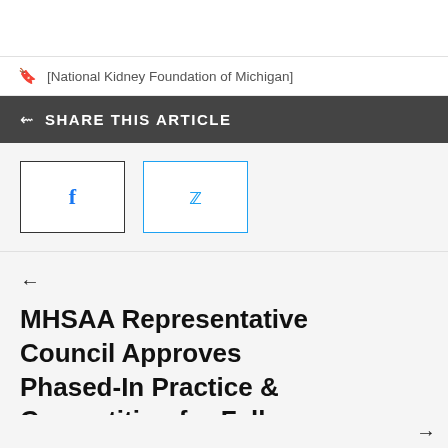[National Kidney Foundation of Michigan]
SHARE THIS ARTICLE
[Figure (other): Facebook and Twitter share buttons]
MHSAA Representative Council Approves Phased-In Practice & Competition for Fall Sports